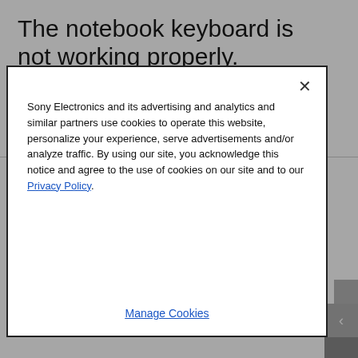The notebook keyboard is not working properly.
of the applicable step below.
If it is only the function keys or hot keys that are not working, there may be applications that need to be updated .
Verify that the NUM LOCK (NUM LK) feature of the
Sony Electronics and its advertising and analytics and similar partners use cookies to operate this website, personalize your experience, serve advertisements and/or analyze traffic. By using our site, you acknowledge this notice and agree to the use of cookies on our site and to our Privacy Policy.
Manage Cookies